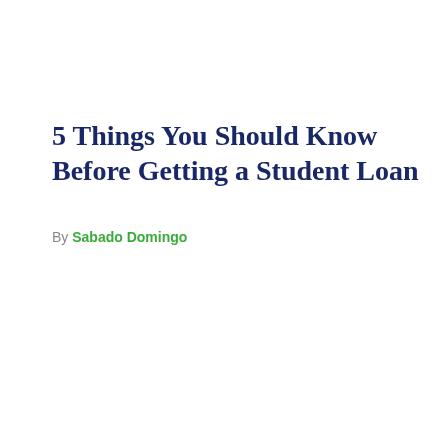5 Things You Should Know Before Getting a Student Loan
By Sabado Domingo
[Figure (logo): Walmart advertisement banner with Walmart logo (blue text 'Walmart' with orange spark/asterisk symbol) and ad control icons (play triangle and close X) in top right corner]